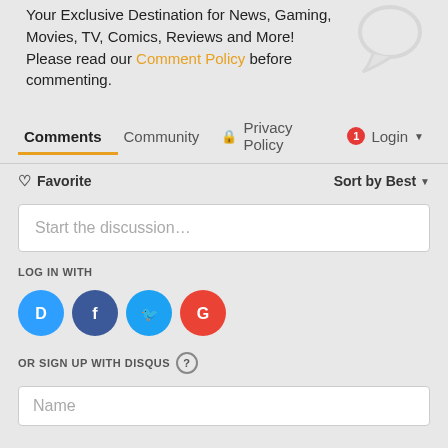Your Exclusive Destination for News, Gaming, Movies, TV, Comics, Reviews and More! Please read our Comment Policy before commenting.
Comments | Community | Privacy Policy | Login
Favorite | Sort by Best
Start the discussion...
LOG IN WITH
[Figure (infographic): Social login icons: Disqus (blue circle with D), Facebook (dark blue circle with f), Twitter (light blue circle with bird), Google (red circle with G)]
OR SIGN UP WITH DISQUS
Name